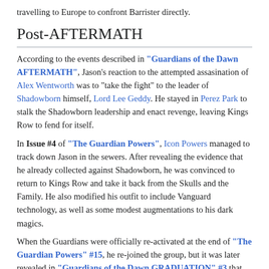travelling to Europe to confront Barrister directly.
Post-AFTERMATH
According to the events described in "Guardians of the Dawn AFTERMATH", Jason's reaction to the attempted assasination of Alex Wentworth was to "take the fight" to the leader of Shadowborn himself, Lord Lee Geddy. He stayed in Perez Park to stalk the Shadowborn leadership and enact revenge, leaving Kings Row to fend for itself.
In Issue #4 of "The Guardian Powers", Icon Powers managed to track down Jason in the sewers. After revealing the evidence that he already collected against Shadowborn, he was convinced to return to Kings Row and take it back from the Skulls and the Family. He also modified his outfit to include Vanguard technology, as well as some modest augmentations to his dark magics.
When the Guardians were officially re-activated at the end of "The Guardian Powers" #15, he re-joined the group, but it was later revealed in "Guardians of the Dawn GRADUATION" #3 that he took issue with the fact that Andrew Wentworth, Alex's uncle and CEO of Wentworth's Fine Consignment, was serving as the new financial patron. Jason knew that the elder Wentworth was a key member of the Bilderburg Alliance and did not believe Andrew's claims that he had in fact parted ways with the Alliance.